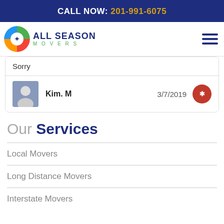CALL NOW: 201-991-6075
[Figure (logo): All Season Movers logo with colorful circular icon and text]
Sorry
Kim. M   3/7/2019
Our Services
Local Movers
Long Distance Movers
Interstate Movers